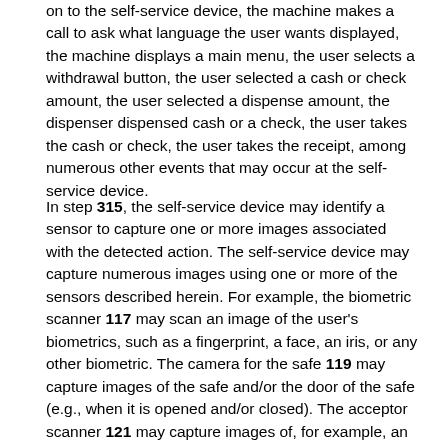on to the self-service device, the machine makes a call to ask what language the user wants displayed, the machine displays a main menu, the user selects a withdrawal button, the user selected a cash or check amount, the user selected a dispense amount, the dispenser dispensed cash or a check, the user takes the cash or check, the user takes the receipt, among numerous other events that may occur at the self-service device.
In step 315, the self-service device may identify a sensor to capture one or more images associated with the detected action. The self-service device may capture numerous images using one or more of the sensors described herein. For example, the biometric scanner 117 may scan an image of the user's biometrics, such as a fingerprint, a face, an iris, or any other biometric. The camera for the safe 119 may capture images of the safe and/or the door of the safe (e.g., when it is opened and/or closed). The acceptor scanner 121 may capture images of, for example, an image of a check inserted via the currency acceptor 109. The receipt camera 125 (and/or a scanner) may capture an image of a receipt for, for example, a check deposit.